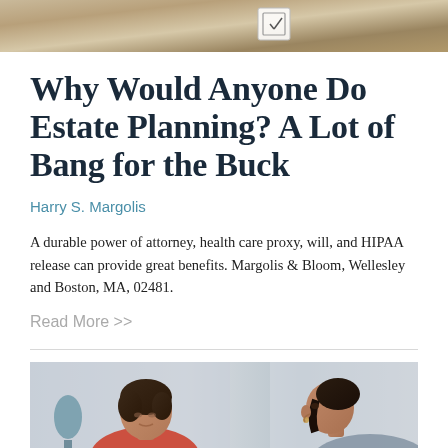[Figure (photo): Top photo showing a checklist or document on a wooden surface]
Why Would Anyone Do Estate Planning? A Lot of Bang for the Buck
Harry S. Margolis
A durable power of attorney, health care proxy, will, and HIPAA release can provide great benefits. Margolis & Bloom, Wellesley and Boston, MA, 02481.
Read More >>
[Figure (photo): Photo of two women in conversation, one wearing a red top, appearing to be in a consultation or discussion setting]